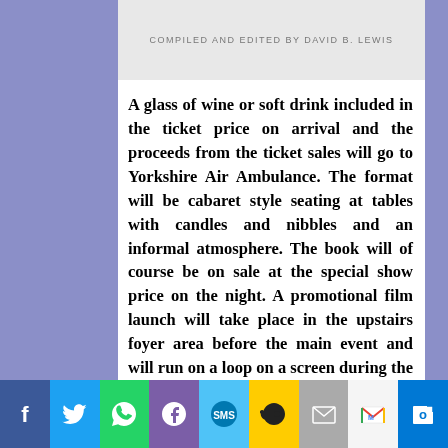COMPILED AND EDITED BY DAVID B. LEWIS
A glass of wine or soft drink included in the ticket price on arrival and the proceeds from the ticket sales will go to Yorkshire Air Ambulance. The format will be cabaret style seating at tables with candles and nibbles and an informal atmosphere. The book will of course be on sale at the special show price on the night. A promotional film launch will take place in the upstairs foyer area before the main event and will run on a loop on a screen during the interval and after the show.